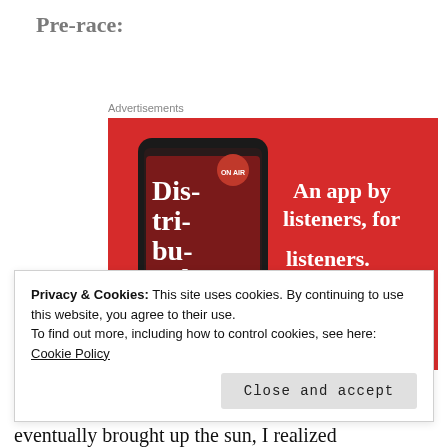Pre-race:
Advertisements
[Figure (illustration): Red advertisement banner for a podcast app showing a smartphone with 'Distributed' podcast cover art on screen, text 'An app by listeners, for listeners.' and a 'Download now' button.]
Privacy & Cookies: This site uses cookies. By continuing to use this website, you agree to their use.
To find out more, including how to control cookies, see here:
Cookie Policy
Close and accept
eventually brought up the sun, I realized